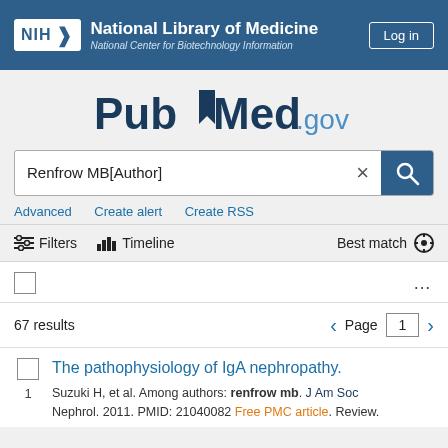NIH National Library of Medicine National Center for Biotechnology Information
[Figure (logo): PubMed.gov logo]
Renfrow MB[Author]
Advanced  Create alert  Create RSS
Filters  Timeline  Best match
67 results  Page 1
The pathophysiology of IgA nephropathy.
Suzuki H, et al. Among authors: renfrow mb. J Am Soc Nephrol. 2011. PMID: 21040082 Free PMC article. Review.